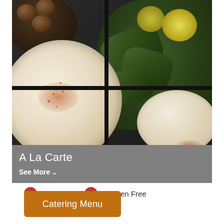[Figure (photo): Food photo showing a dark serving tray divided into quadrants: top-left has fried falafel balls, top-right has stuffed grape leaves (dolmas) with lemon slices, bottom-left has a large bowl of hummus/tahini with paprika spice, bottom-right has a smaller cream dip bowl.]
A La Carte
See More
V – Vegan   |   GF – Gluten Free
Catering Menu